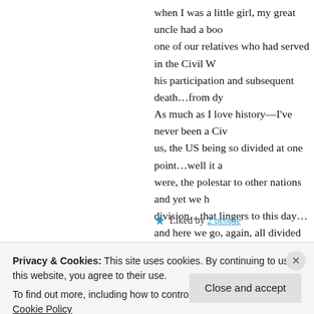when I was a little girl, my great uncle had a boo one of our relatives who had served in the Civil W his participation and subsequent death...from dy As much as I love history––I've never been a Civ us, the US being so divided at one point...well it a were, the polestar to other nations and yet we h division...that lingers to this day... and here we go, again, all divided and full of hate
★ Liked by 2 people
atimetoshare.me says:
Privacy & Cookies: This site uses cookies. By continuing to use this website, you agree to their use.
To find out more, including how to control cookies, see here: Cookie Policy
Close and accept